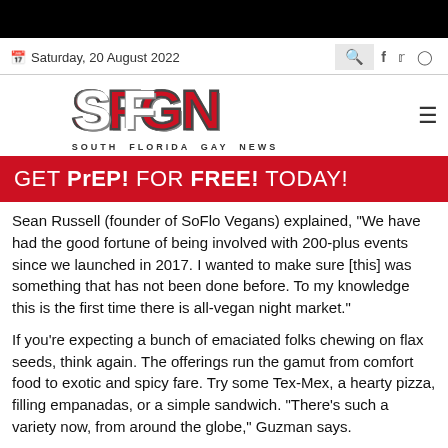Saturday, 20 August 2022
[Figure (logo): SFGN South Florida Gay News logo in red and white with black outline]
[Figure (infographic): Red banner advertisement reading: GET PrEP! FOR FREE! TODAY!]
Sean Russell (founder of SoFlo Vegans) explained, “We have had the good fortune of being involved with 200-plus events since we launched in 2017. I wanted to make sure [this] was something that has not been done before. To my knowledge this is the first time there is all-vegan night market.”
If you’re expecting a bunch of emaciated folks chewing on flax seeds, think again. The offerings run the gamut from comfort food to exotic and spicy fare. Try some Tex-Mex, a hearty pizza, filling empanadas, or a simple sandwich. “There’s such a variety now, from around the globe,” Guzman says.
“It’s definitely a celebration for the vegan community, for the community in general,” Russell said. “People are looking to get